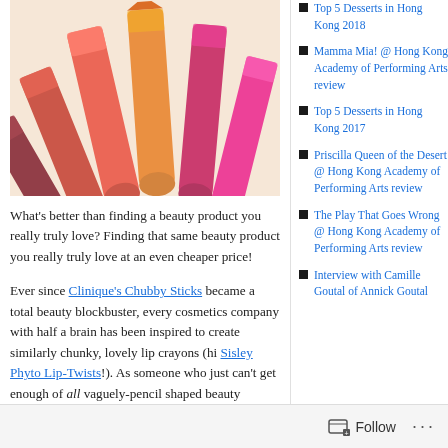[Figure (photo): Photo of several colorful chunky lip crayons/chubby sticks in shades of red, orange, coral, and pink arranged on a light surface]
What’s better than finding a beauty product you really truly love? Finding that same beauty product you really truly love at an even cheaper price!
Ever since Clinique’s Chubby Sticks became a total beauty blockbuster, every cosmetics company with half a brain has been inspired to create similarly chunky, lovely lip crayons (hi Sisley Phyto Lip-Twists!). As someone who just can’t get enough of all vaguely-pencil shaped beauty products, I’ve been lapping up
Top 5 Desserts in Hong Kong 2018
Mamma Mia! @ Hong Kong Academy of Performing Arts review
Top 5 Desserts in Hong Kong 2017
Priscilla Queen of the Desert @ Hong Kong Academy of Performing Arts review
The Play That Goes Wrong @ Hong Kong Academy of Performing Arts review
Interview with Camille Goutal of Annick Goutal
Follow